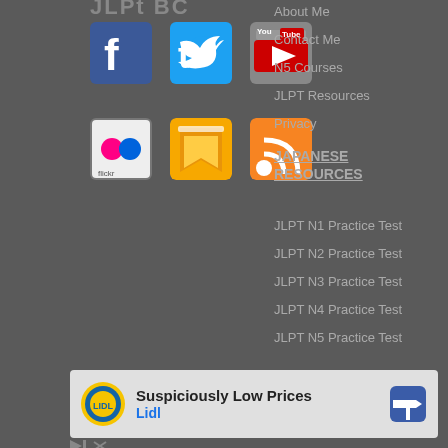[Figure (logo): JLPT BC website logo (partially visible at top)]
[Figure (illustration): Social media icons row 1: Facebook (blue), Twitter (blue), YouTube (red/white)]
[Figure (illustration): Social media icons row 2: Flickr, Delicious/bookmark, RSS feed (orange)]
About Me
Contact Me
N5 Courses
JLPT Resources
Privacy
JAPANESE RESOURCES
JLPT N1 Practice Test
JLPT N2 Practice Test
JLPT N3 Practice Test
JLPT N4 Practice Test
JLPT N5 Practice Test
[Figure (infographic): Lidl advertisement banner: Suspiciously Low Prices / Lidl, with Lidl logo and direction sign icon]